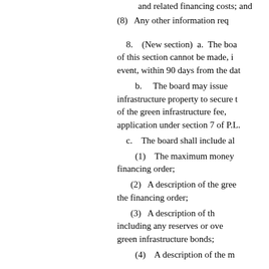and related financing costs; and
(8)   Any other information req
8.    (New section)  a.  The boa of this section cannot be made, i event, within 90 days from the dat
b.      The board may issue infrastructure property to secure t of the green infrastructure fee, application under section 7 of P.L.
c.    The board shall include al
(1)    The maximum money financing order;
(2)   A description of the gree the financing order;
(3)   A description of th including any reserves or ove green infrastructure bonds;
(4)    A description of the m